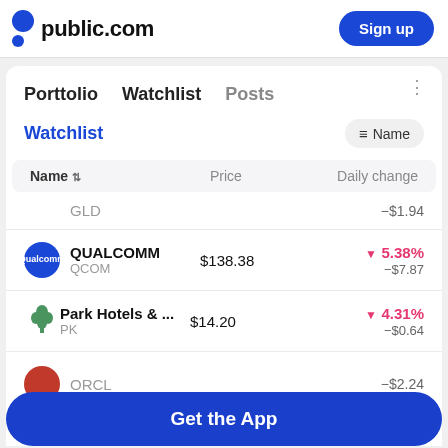public.com  Sign up
Porttolio   Watchlist   Posts
Watchlist   Name
| Name | Price | Daily change |
| --- | --- | --- |
| GLD |  | -$1.94 |
| QUALCOMM / QCOM | $138.38 | ▼ 5.38% / -$7.87 |
| Park Hotels & ... / PK | $14.20 | ▼ 4.31% / -$0.64 |
| ORCL |  | -$2.24 |
Get the App